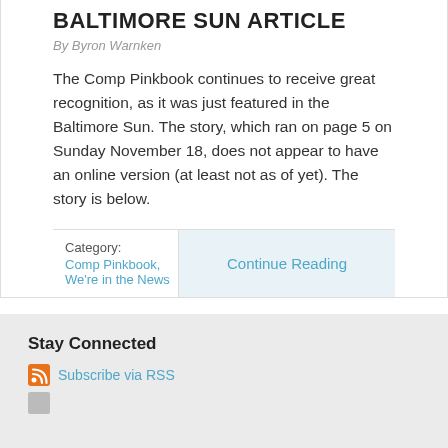BALTIMORE SUN ARTICLE
By Byron Warnken
The Comp Pinkbook continues to receive great recognition, as it was just featured in the Baltimore Sun.  The story, which ran on page 5 on Sunday November 18, does not appear to have an online version (at least not as of yet).  The story is below.
Category: Comp Pinkbook, We're in the News
Continue Reading
Stay Connected
Subscribe via RSS